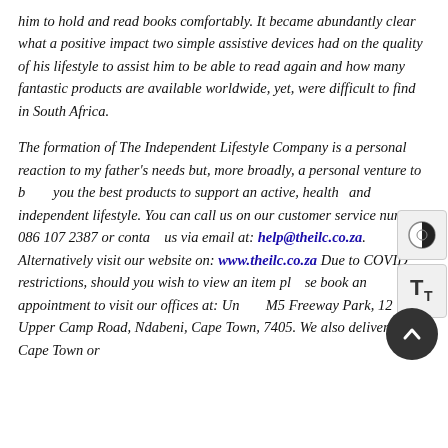him to hold and read books comfortably. It became abundantly clear what a positive impact two simple assistive devices had on the quality of his lifestyle to assist him to be able to read again and how many fantastic products are available worldwide, yet, were difficult to find in South Africa.
The formation of The Independent Lifestyle Company is a personal reaction to my father's needs but, more broadly, a personal venture to bring you the best products to support an active, healthy and independent lifestyle. You can call us on our customer service number: 086 107 2387 or contact us via email at: help@theilc.co.za. Alternatively visit our website on: www.theilc.co.za Due to COVID restrictions, should you wish to view an item please book an appointment to visit our offices at: Unit 8, M5 Freeway Park, 12 Upper Camp Road, Ndabeni, Cape Town, 7405. We also deliver in Cape Town or